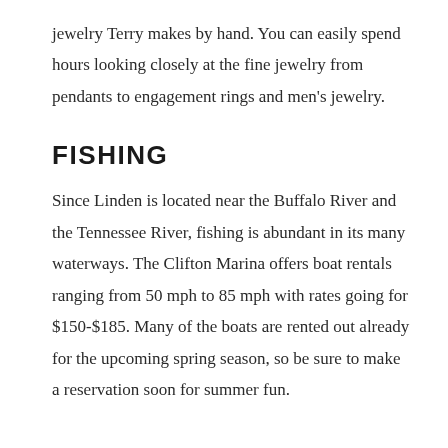jewelry Terry makes by hand. You can easily spend hours looking closely at the fine jewelry from pendants to engagement rings and men's jewelry.
FISHING
Since Linden is located near the Buffalo River and the Tennessee River, fishing is abundant in its many waterways. The Clifton Marina offers boat rentals ranging from 50 mph to 85 mph with rates going for $150-$185. Many of the boats are rented out already for the upcoming spring season, so be sure to make a reservation soon for summer fun.